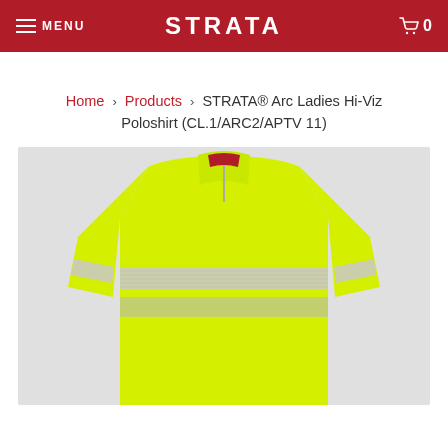MENU  STRATA  0
Home > Products > STRATA® Arc Ladies Hi-Viz Poloshirt (CL.1/ARC2/APTV 11)
[Figure (photo): A ladies hi-viz yellow poloshirt with reflective silver bands across the chest and sleeves, shown on a mannequin torso against a light grey background. The shirt features a zip collar and long sleeves.]